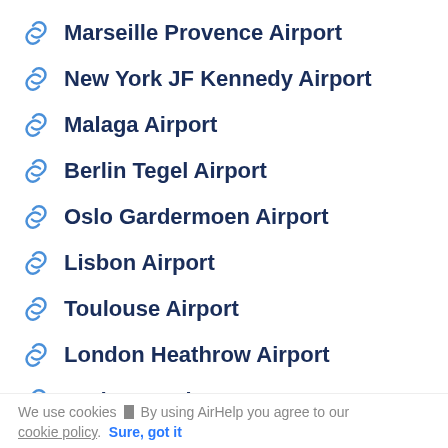Marseille Provence Airport
New York JF Kennedy Airport
Malaga Airport
Berlin Tegel Airport
Oslo Gardermoen Airport
Lisbon Airport
Toulouse Airport
London Heathrow Airport
Budapest Airport
Vienna Airport
We use cookies ▮ By using AirHelp you agree to our cookie policy. Sure, got it